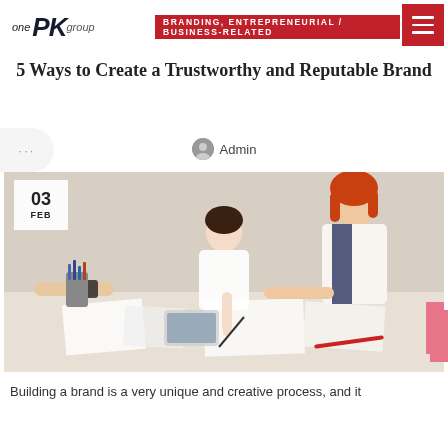one PR group — BRANDING, ENTREPRENEURIAL / BUSINESS-RELATED
5 Ways to Create a Trustworthy and Reputable Brand
Admin
[Figure (photo): Office workers collaborating around a table with papers and documents. Date badge showing 03 FEB in top-left corner.]
Building a brand is a very unique and creative process, and it